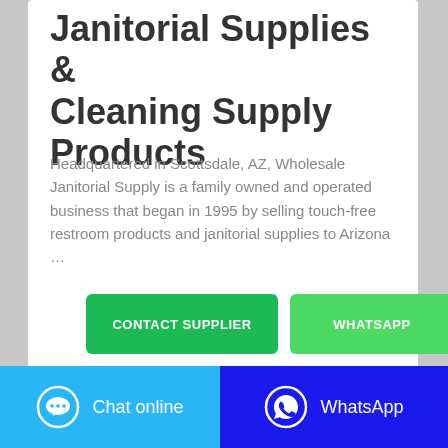Janitorial Supplies & Cleaning Supply Products
Headquartered in Scottsdale, AZ, Wholesale Janitorial Supply is a family owned and operated business that began in 1995 by selling touch-free restroom products and janitorial supplies to Arizona …
[Figure (other): CONTACT SUPPLIER green button]
[Figure (other): WHATSAPP green button]
[Figure (other): Green progress/status bar at bottom of card]
[Figure (other): Chat online button with chat bubble icon on cyan background]
[Figure (other): WhatsApp button with WhatsApp icon on dark blue background]